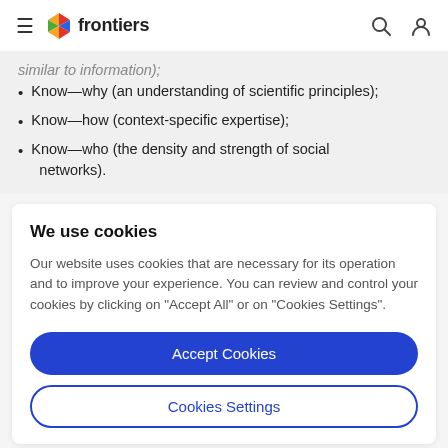frontiers
similar to information);
Know—why (an understanding of scientific principles);
Know—how (context-specific expertise);
Know—who (the density and strength of social networks).
We use cookies
Our website uses cookies that are necessary for its operation and to improve your experience. You can review and control your cookies by clicking on "Accept All" or on "Cookies Settings".
Accept Cookies
Cookies Settings